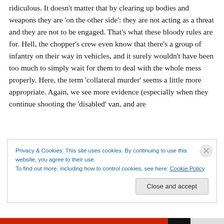ridiculous. It doesn't matter that by clearing up bodies and weapons they are 'on the other side': they are not acting as a threat and they are not to be engaged. That's what these bloody rules are for. Hell, the chopper's crew even know that there's a group of infantry on their way in vehicles, and it surely wouldn't have been too much to simply wait for them to deal with the whole mess properly. Here, the term 'collateral murder' seems a little more appropriate. Again, we see more evidence (especially when they continue shooting the 'disabled' van, and are
Privacy & Cookies: This site uses cookies. By continuing to use this website, you agree to their use.
To find out more, including how to control cookies, see here: Cookie Policy